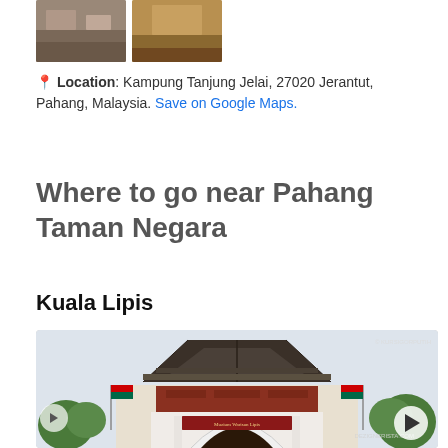[Figure (photo): Two thumbnail photos at the top of the page]
Location: Kampung Tanjung Jelai, 27020 Jerantut, Pahang, Malaysia. Save on Google Maps.
Where to go near Pahang Taman Negara
Kuala Lipis
[Figure (photo): Photo of a traditional Malay-style building entrance, likely a museum (Muzium Warisan Lipis), with pointed roof, wooden beams, arched gateway, and Malaysian flags on both sides. Watermark text visible in top right and bottom right.]